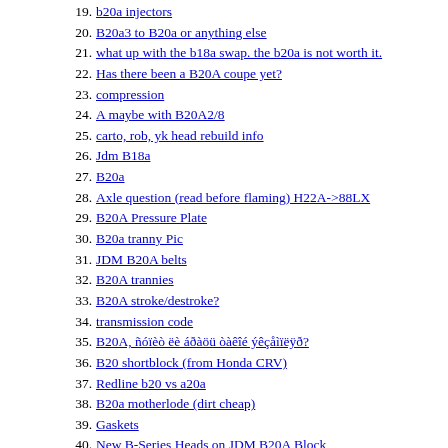19. b20a injectors
20. B20a3 to B20a or anything else
21. what up with the b18a swap. the b20a is not worth it.
22. Has there been a B20A coupe yet?
23. compression
24. A maybe with B20A2/8
25. carto, rob, yk head rebuild info
26. Jdm B18a
27. B20a
28. Axle question (read before flaming) H22A->88LX
29. B20A Pressure Plate
30. B20a tranny Pic
31. JDM B20A belts
32. B20A trannies
33. B20A stroke/destroke?
34. transmission code
35. B20A, ñóïèò ëè áðàöü òàêîé ýêçåìïëÿð?
36. B20 shortblock (from Honda CRV)
37. Redline b20 vs a20a
38. B20a motherlode (dirt cheap)
39. Gaskets
40. New B-Series Heads on JDM B20A Block
41. Found B20A!!! But.....
42. B20A Water Pump
43. I need help to find a B20A engine and parts
44. B20a
45. B20a? Wtf?
46. B20 replacement info required
47. ARP Fasteners for B20A
48. Other B20A Guys